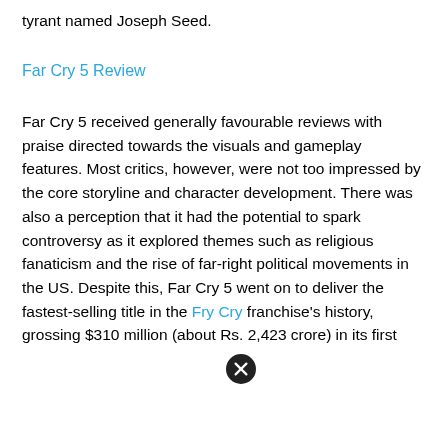tyrant named Joseph Seed.
Far Cry 5 Review
Far Cry 5 received generally favourable reviews with praise directed towards the visuals and gameplay features. Most critics, however, were not too impressed by the core storyline and character development. There was also a perception that it had the potential to spark controversy as it explored themes such as religious fanaticism and the rise of far-right political movements in the US. Despite this, Far Cry 5 went on to deliver the fastest-selling title in the Fry Cry franchise's history, grossing $310 million (about Rs. 2,423 crore) in its first weekend. The game also...